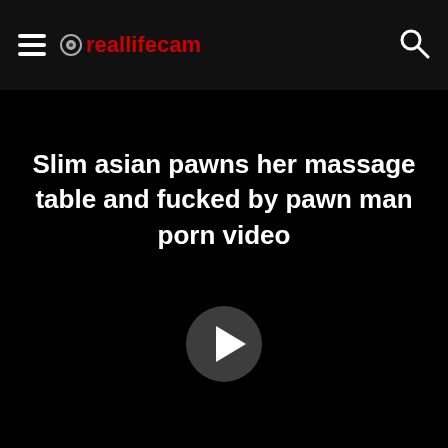reallifecam
Slim asian pawns her massage table and fucked by pawn man porn video
[Figure (other): Play button circle on black background]